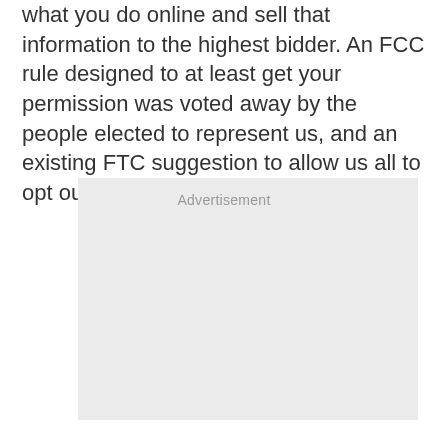what you do online and sell that information to the highest bidder. An FCC rule designed to at least get your permission was voted away by the people elected to represent us, and an existing FTC suggestion to allow us all to opt out will continue to be ignored.
[Figure (other): Advertisement placeholder box with light gray background and 'Advertisement' label text centered at the top.]